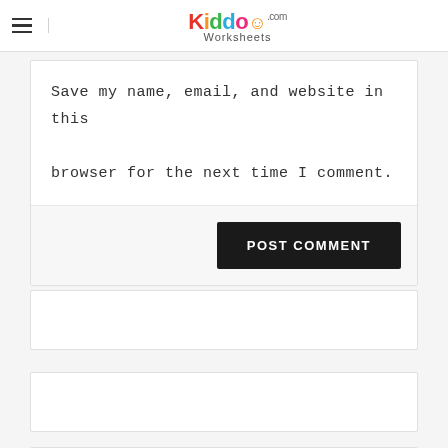KiddoWorksheets.com
Save my name, email, and website in this browser for the next time I comment.
POST COMMENT
Latest Posts